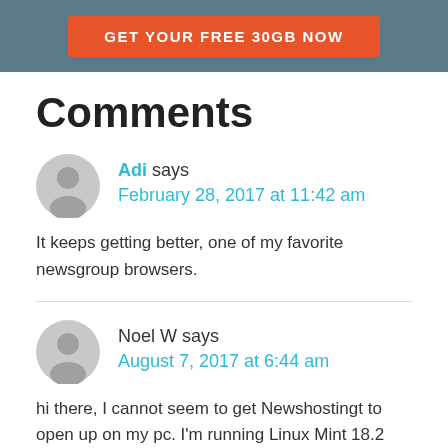[Figure (other): Orange CTA button on dark teal/grey header: GET YOUR FREE 30GB NOW]
Comments
Adi says
February 28, 2017 at 11:42 am
It keeps getting better, one of my favorite newsgroup browsers.
Noel W says
August 7, 2017 at 6:44 am
hi there, I cannot seem to get Newshostingt to open up on my pc. I'm running Linux Mint 18.2